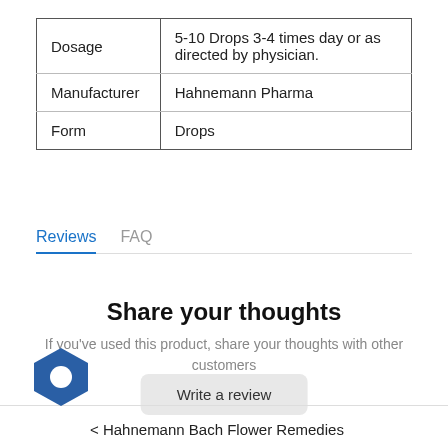| Dosage | 5-10 Drops 3-4 times day or as directed by physician. |
| Manufacturer | Hahnemann Pharma |
| Form | Drops |
Reviews   FAQ
Share your thoughts
If you've used this product, share your thoughts with other customers
Write a review
[Figure (logo): Blue hexagon logo with white circle cutout]
< Hahnemann Bach Flower Remedies